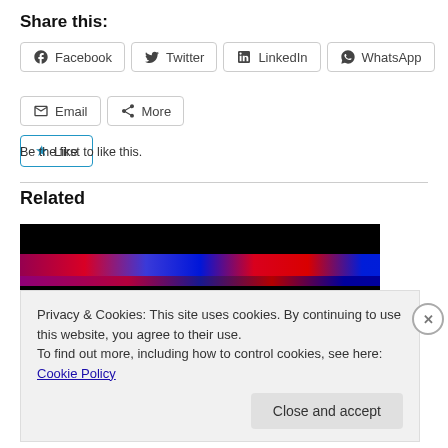Share this:
[Figure (other): Row of social sharing buttons: Facebook, Twitter, LinkedIn, WhatsApp, Email, More]
[Figure (other): Like button with blue star icon]
Be the first to like this.
Related
[Figure (photo): Dark image with colorful horizontal light bands (red, blue) on black background]
Privacy & Cookies: This site uses cookies. By continuing to use this website, you agree to their use.
To find out more, including how to control cookies, see here: Cookie Policy
Close and accept